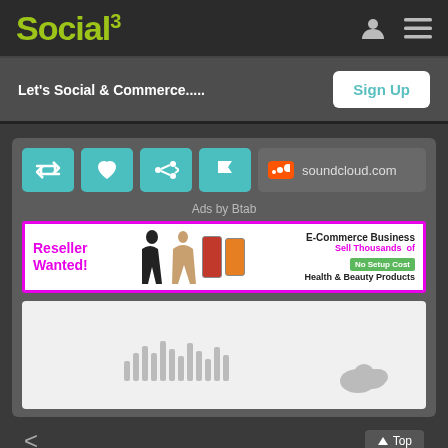Social³
Let's Social & Commerce.....
Sign Up
[Figure (screenshot): Action buttons row with retweet, heart, share, flag icons in teal, and soundcloud.com button]
Ads by Btab
[Figure (infographic): Advertisement banner with magenta border: Reseller Wanted! E-Commerce Business Sell Thousands of Health & Beauty Products No Setup Cost]
[Figure (screenshot): SoundCloud embedded player with waveform and cloud logo on light grey background]